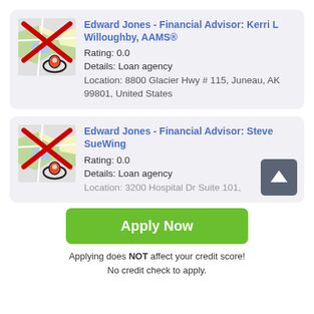[Figure (screenshot): Map placeholder icon with red X overlay and location pin, for Edward Jones - Financial Advisor: Kerri L Willoughby, AAMS®]
Edward Jones - Financial Advisor: Kerri L Willoughby, AAMS®
Rating: 0.0
Details: Loan agency
Location: 8800 Glacier Hwy # 115, Juneau, AK 99801, United States
[Figure (screenshot): Map placeholder icon with red X overlay and location pin, for Edward Jones - Financial Advisor: Steve SueWing]
Edward Jones - Financial Advisor: Steve SueWing
Rating: 0.0
Details: Loan agency
Location: 3200 Hospital Dr Suite 101,
Apply Now
Applying does NOT affect your credit score! No credit check to apply.